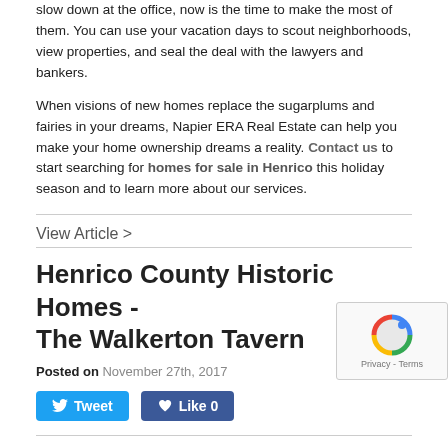slow down at the office, now is the time to make the most of them. You can use your vacation days to scout neighborhoods, view properties, and seal the deal with the lawyers and bankers.
When visions of new homes replace the sugarplums and fairies in your dreams, Napier ERA Real Estate can help you make your home ownership dreams a reality. Contact us to start searching for homes for sale in Henrico this holiday season and to learn more about our services.
View Article >
Henrico County Historic Homes - The Walkerton Tavern
Posted on November 27th, 2017
[Figure (screenshot): Social share buttons: Tweet and Like 0]
[Figure (other): reCAPTCHA widget with Privacy and Terms links]
Celebrate Virginia's History at the Walkerton Tavern in